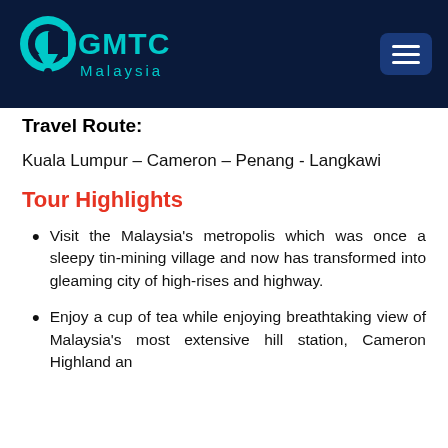[Figure (logo): CGMTC Malaysia logo with teal circular icon and teal text on dark navy background]
Travel Route:
Kuala Lumpur – Cameron – Penang - Langkawi
Tour Highlights
Visit the Malaysia's metropolis which was once a sleepy tin-mining village and now has transformed into gleaming city of high-rises and highway.
Enjoy a cup of tea while enjoying breathtaking view of Malaysia's most extensive hill station, Cameron Highland an